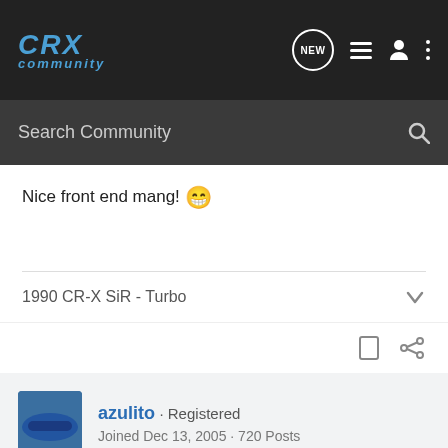CRX Community - header navigation
Nice front end mang! 😁
1990 CR-X SiR - Turbo
[Figure (screenshot): Avatar thumbnail of a blue car]
azulito · Registered
Joined Dec 13, 2005 · 720 Posts
#4 · Feb 7, 2006